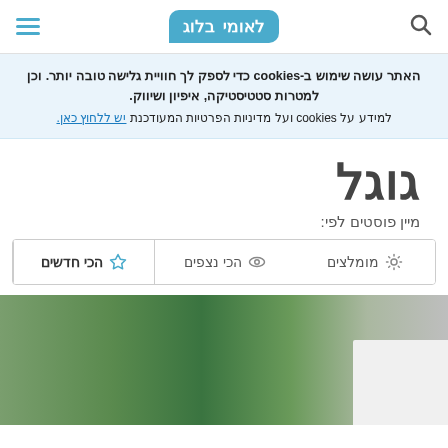לאומי בלוג - navigation header with search and menu
האתר עושה שימוש ב-cookies כדי לספק לך חוויית גלישה טובה יותר. וכן למטרות סטטיסטיקה, איפיון ושיווק.
למידע על cookies ועל מדיניות הפרטיות המעודכנת יש ללחוץ כאן.
גוגל
מיין פוסטים לפי:
הכי חדשים
הכי נצפים
מומלצים
[Figure (photo): Partial image strip showing green foliage/nature scene at bottom of page]